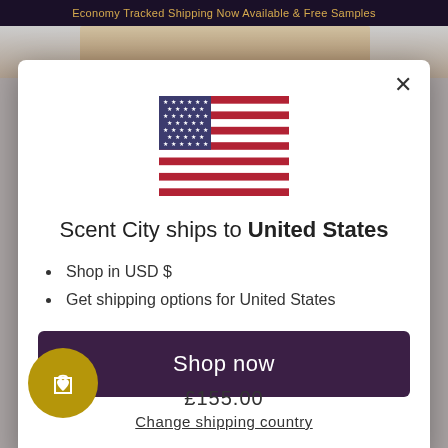Economy Tracked Shipping Now Available & Free Samples
[Figure (screenshot): US flag SVG inline icon centered in modal]
Scent City ships to United States
Shop in USD $
Get shipping options for United States
Shop now
Change shipping country
£155.00